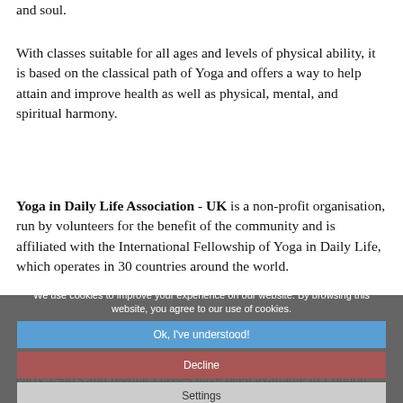and soul.
With classes suitable for all ages and levels of physical ability, it is based on the classical path of Yoga and offers a way to help attain and improve health as well as physical, mental, and spiritual harmony.
Yoga in Daily Life Association - UK is a non-profit organisation, run by volunteers for the benefit of the community and is affiliated with the International Fellowship of Yoga in Daily Life, which operates in 30 countries around the world.
YOGA IN DAILY LIFE has had a presence in the UK since the early 1980's and regular classes have been available in London since 2001. The UK national centre was inaugurated in Queens Park in NW London, in May 2004 as the Sri Swami Madhavandaji Ashram, and has
We use cookies to improve your experience on our website. By browsing this website, you agree to our use of cookies.